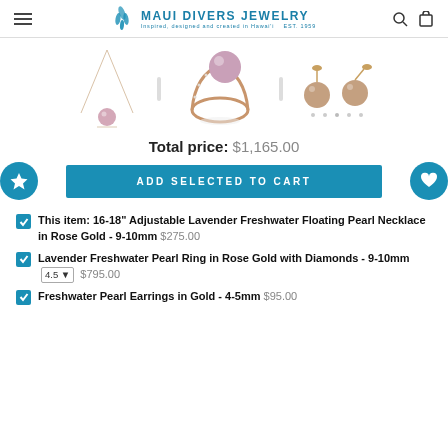Maui Divers Jewelry — Inspired, designed and created in Hawai'i EST. 1959
[Figure (photo): Three jewelry items: a pearl necklace on the left, a pearl ring in the center, and pearl stud earrings on the right]
Total price: $1,165.00
ADD SELECTED TO CART
This item: 16-18" Adjustable Lavender Freshwater Floating Pearl Necklace in Rose Gold - 9-10mm  $275.00
Lavender Freshwater Pearl Ring in Rose Gold with Diamonds - 9-10mm  4.5  $795.00
Freshwater Pearl Earrings in Gold - 4-5mm  $95.00